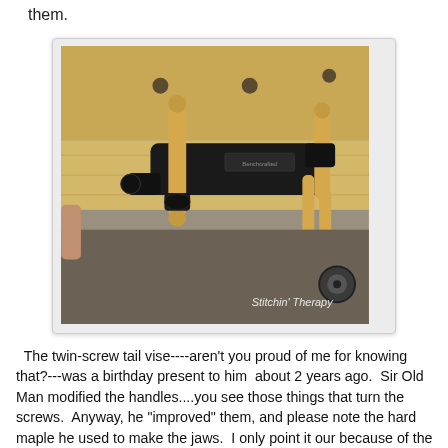them.
[Figure (photo): A twin-screw tail vise mounted on a wooden workbench. The vise is black metal with wooden handles/pegs (light maple colored). The bench has holes and a wood jaw. A watermark reads 'Stitchin' Therapy'.]
The twin-screw tail vise----aren't you proud of me for knowing that?---was a birthday present to him  about 2 years ago.  Sir Old Man modified the handles....you see those things that turn the screws.  Anyway, he "improved" them, and please note the hard maple he used to make the jaws.  I only point it our because of the coins it cost.  At least 10 yards of fabric worth here.